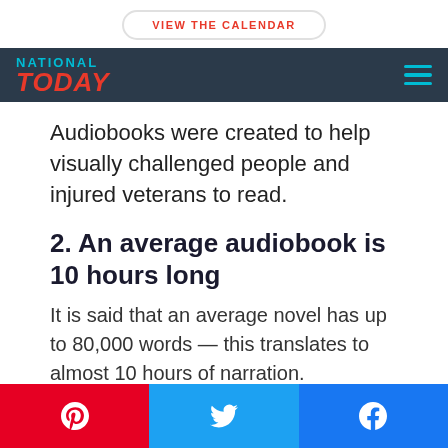VIEW THE CALENDAR
NATIONAL TODAY
Audiobooks were created to help visually challenged people and injured veterans to read.
2. An average audiobook is 10 hours long
It is said that an average novel has up to 80,000 words — this translates to almost 10 hours of narration.
Pinterest share | Twitter share | Facebook share